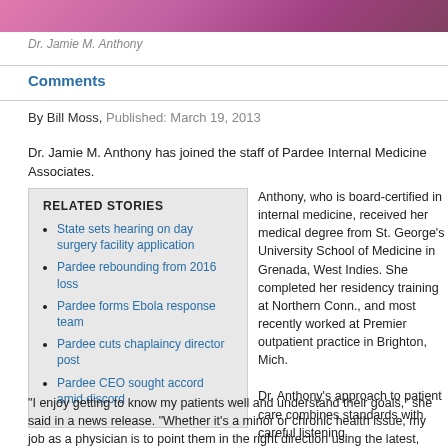[Figure (photo): Partial photo strip of Dr. Jamie M. Anthony at top of page]
Dr. Jamie M. Anthony
Comments
By Bill Moss, Published: March 19, 2013
Dr. Jamie M. Anthony has joined the staff of Pardee Internal Medicine Associates.
State sets hearing on day surgery facility application
Pardee rebounding from 2016 loss
Pardee forms Ebola response team
Pardee cuts chaplaincy director post
Pardee CEO sought accord amid discord
Anthony, who is board-certified in internal m... from St. George's University School of Med... She completed her residency training at No... Conn., and most recently worked at Premie... outpatient practice in Brighton, Mich. Dr. Anthony's approach to patient care com... standards with careful listening.
"I enjoy getting to know my patients well an... goals," she said in a news release. "Whethe... or chronic health issue, my job as a physici... right direction using the latest, proven standards in care."